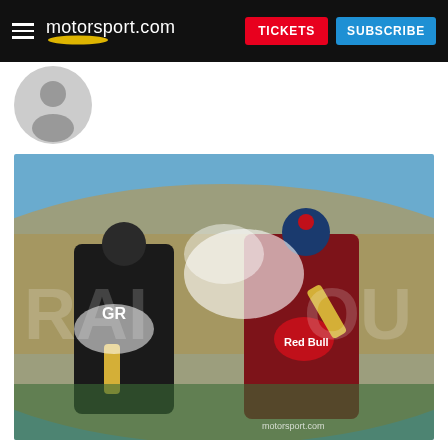motorsport.com | TICKETS | SUBSCRIBE
[Figure (photo): Circular avatar/profile photo of an author, greyscale, partially visible at top of page]
[Figure (photo): Two racing drivers in GR and Red Bull racing suits celebrating on a podium, spraying champagne, with a rally finish arch and trees in background. Watermark: motorsport.com]
Sainz sat 4m47s adrift of de Villiers heading into the last stage, but rapidly brought down that deficit